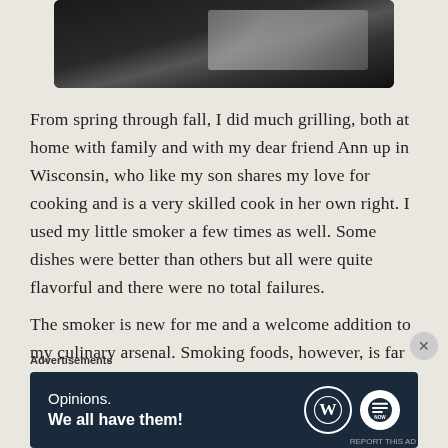[Figure (photo): Partial photo of a grill or smoker, dark background with some metallic/food elements visible]
From spring through fall, I did much grilling, both at home with family and with my dear friend Ann up in Wisconsin, who like my son shares my love for cooking and is a very skilled cook in her own right. I used my little smoker a few times as well. Some dishes were better than others but all were quite flavorful and there were no total failures.
The smoker is new for me and a welcome addition to my culinary arsenal. Smoking foods, however, is far from a foolproof endeavor. In short order, I
Advertisements
[Figure (screenshot): Advertisement banner with dark blue background. Text: 'Opinions. We all have them!' with WordPress logo (W in circle) and another circular logo on the right.]